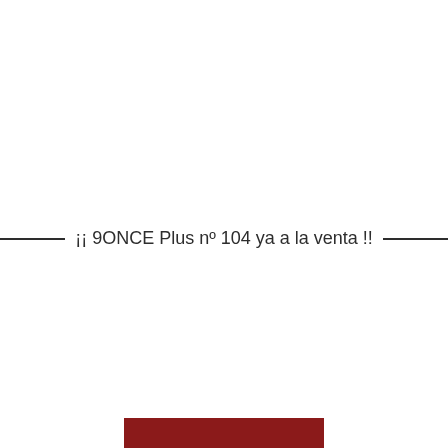¡¡ 9ONCE Plus nº 104 ya a la venta !!
[Figure (other): Red banner partially visible at bottom of page]